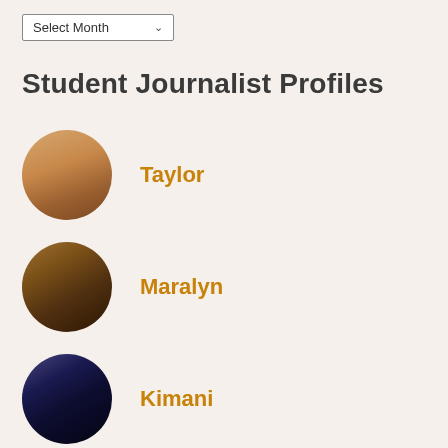Select Month
Student Journalist Profiles
Taylor
Maralyn
Kimani